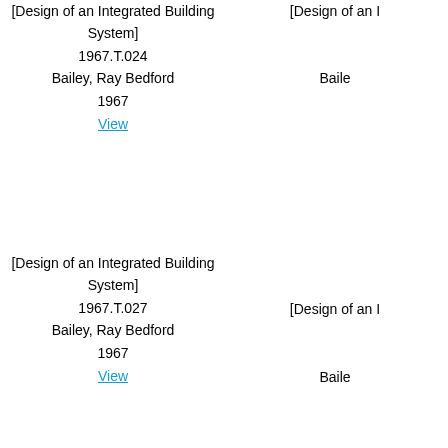[Design of an Integrated Building System]
1967.T.024
Bailey, Ray Bedford
1967
View
[Design of an I...
Baile...
[Design of an Integrated Building System]
1967.T.027
Bailey, Ray Bedford
1967
View
[Design of an I...
Baile...